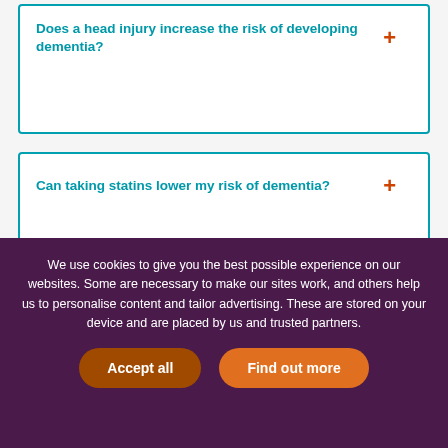Does a head injury increase the risk of developing dementia?
Can taking statins lower my risk of dementia?
Can certain medications alter our risk of developing dementia?
Should I take aspirin to prevent Alzheimer's?
We use cookies to give you the best possible experience on our websites. Some are necessary to make our sites work, and others help us to personalise content and tailor advertising. These are stored on your device and are placed by us and trusted partners.
Accept all
Find out more